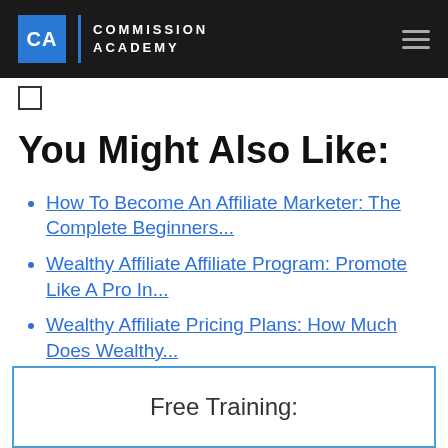CA | COMMISSION ACADEMY
You Might Also Like:
How To Become An Affiliate Marketer: The Complete Beginners...
Wealthy Affiliate Affiliate Program: Promote Like A Pro In...
Wealthy Affiliate Pricing Plans: How Much Does Wealthy...
Free Training: